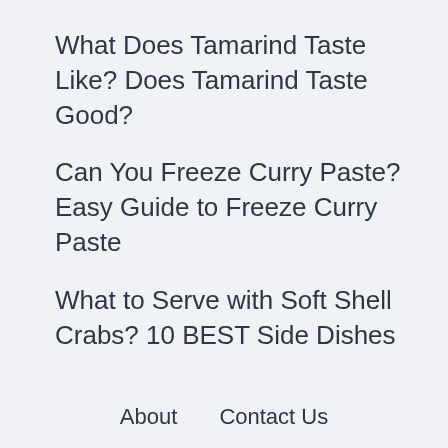What Does Tamarind Taste Like? Does Tamarind Taste Good?
Can You Freeze Curry Paste? Easy Guide to Freeze Curry Paste
What to Serve with Soft Shell Crabs? 10 BEST Side Dishes
About    Contact Us